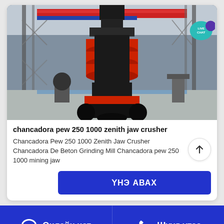[Figure (photo): Industrial cone crusher machine (chancadora) on display floor in a warehouse/exhibition hall, large dark metal machine with red rings, scaffolding visible in background.]
chancadora pew 250 1000 zenith jaw crusher
Chancadora Pew 250 1000 Zenith Jaw Crusher Chancadora De Beton Grinding Mill Chancadora pew 250 1000 mining jaw
ҮНЭ АВАХ
Онлайн чат
Шууд утас